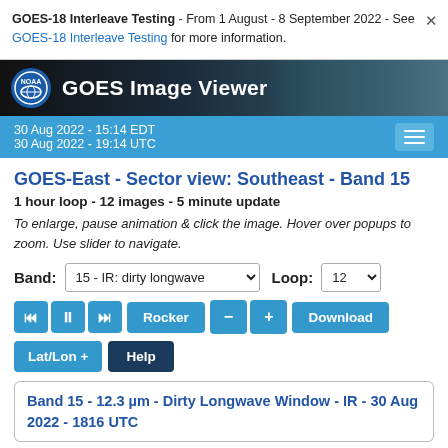GOES-18 Interleave Testing - From 1 August - 8 September 2022 - See GOES-18 Interleave Testing for more information.
[Figure (screenshot): NOAA GOES Image Viewer header banner with NOAA logo, site title text and satellite imagery background]
30 Aug 2022 - 15:14 EDT
30 Aug 2022 - 19:14 UTC
GOES-East - Sector view: Southeast - Band 15
1 hour loop - 12 images - 5 minute update
To enlarge, pause animation & click the image. Hover over popups to zoom. Use slider to navigate.
Band: 15 - IR: dirty longwave   Loop: 12
Playback controls: First, Pause, Last, Rocker, Minus, Plus, Download
Lat/Lon +   Help
Band 15 - 12.3 µm - Dirty Longwave Window - IR - 30 Aug 2022 - 1816 UTC